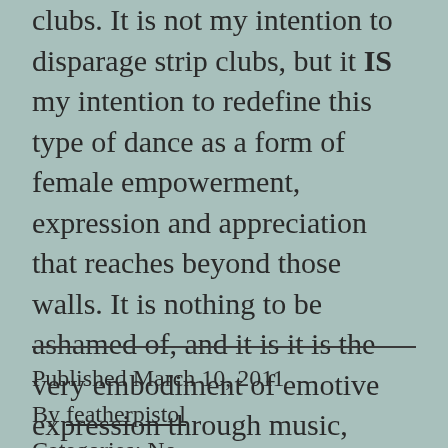clubs. It is not my intention to disparage strip clubs, but it IS my intention to redefine this type of dance as a form of female empowerment, expression and appreciation that reaches beyond those walls. It is nothing to be ashamed of, and it is it is the very embodiment of emotive expression through music, movement and costume.
Published March 10, 2011
By featherpistol
Categories: No...